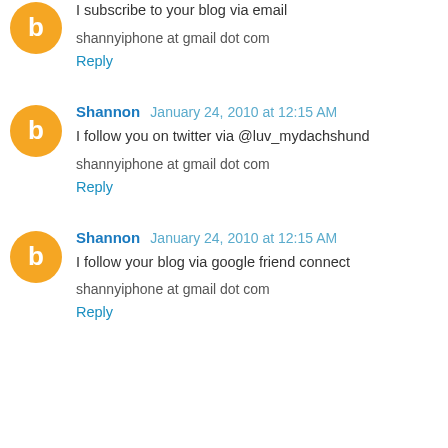I subscribe to your blog via email
shannyiphone at gmail dot com
Reply
Shannon January 24, 2010 at 12:15 AM
I follow you on twitter via @luv_mydachshund
shannyiphone at gmail dot com
Reply
Shannon January 24, 2010 at 12:15 AM
I follow your blog via google friend connect
shannyiphone at gmail dot com
Reply